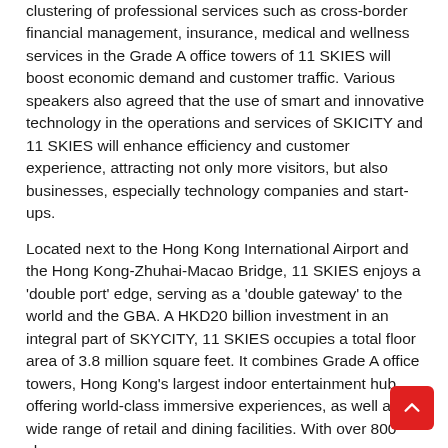clustering of professional services such as cross-border financial management, insurance, medical and wellness services in the Grade A office towers of 11 SKIES will boost economic demand and customer traffic. Various speakers also agreed that the use of smart and innovative technology in the operations and services of SKICITY and 11 SKIES will enhance efficiency and customer experience, attracting not only more visitors, but also businesses, especially technology companies and start-ups.
Located next to the Hong Kong International Airport and the Hong Kong-Zhuhai-Macao Bridge, 11 SKIES enjoys a 'double port' edge, serving as a 'double gateway' to the world and the GBA. A HKD20 billion investment in an integral part of SKYCITY, 11 SKIES occupies a total floor area of 3.8 million square feet. It combines Grade A office towers, Hong Kong's largest indoor entertainment hub offering world-class immersive experiences, as well as a wide range of retail and dining facilities. With over 800 shops including more than 170 dining restaurants to its name...